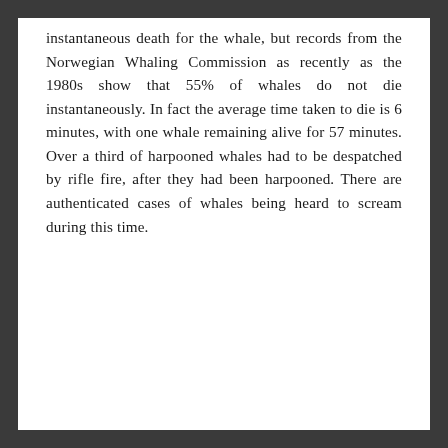instantaneous death for the whale, but records from the Norwegian Whaling Commission as recently as the 1980s show that 55% of whales do not die instantaneously. In fact the average time taken to die is 6 minutes, with one whale remaining alive for 57 minutes. Over a third of harpooned whales had to be despatched by rifle fire, after they had been harpooned. There are authenticated cases of whales being heard to scream during this time.